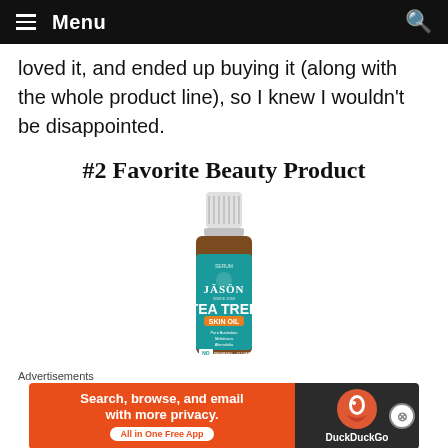Menu
loved it, and ended up buying it (along with the whole product line), so I knew I wouldn't be disappointed.
#2 Favorite Beauty Product
[Figure (photo): A bottle of JASON Tea Tree Skin Oil with a white dropper cap and teal label]
Advertisements
[Figure (infographic): DuckDuckGo advertisement banner: 'Search, browse, and email with more privacy. All in One Free App' on orange background with DuckDuckGo logo on dark background]